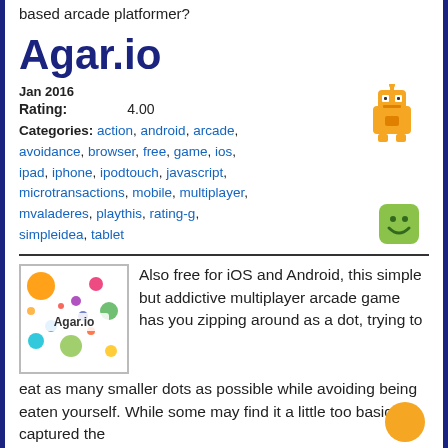based arcade platformer?
Agar.io
Jan 2016
Rating: 4.00
Categories: action, android, arcade, avoidance, browser, free, game, ios, ipad, iphone, ipodtouch, javascript, microtransactions, mobile, multiplayer, mvaladeres, playthis, rating-g, simpleidea, tablet
[Figure (illustration): Agar.io game thumbnail showing colorful dots on white background with Agar.io label]
Also free for iOS and Android, this simple but addictive multiplayer arcade game has you zipping around as a dot, trying to eat as many smaller dots as possible while avoiding being eaten yourself. While some may find it a little too basic, it's captured the
Beneath the Lighthouse